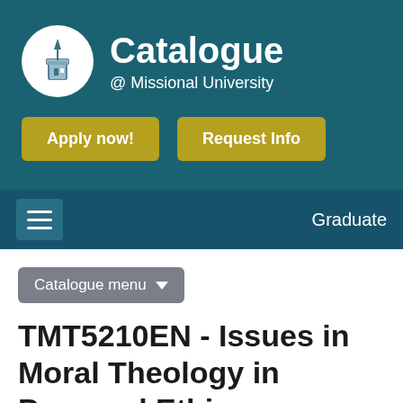[Figure (logo): Missional University logo with church steeple in white circle on teal background]
Catalogue @ Missional University
Apply now!
Request Info
Graduate
Catalogue menu
TMT5210EN - Issues in Moral Theology in Personal Ethics